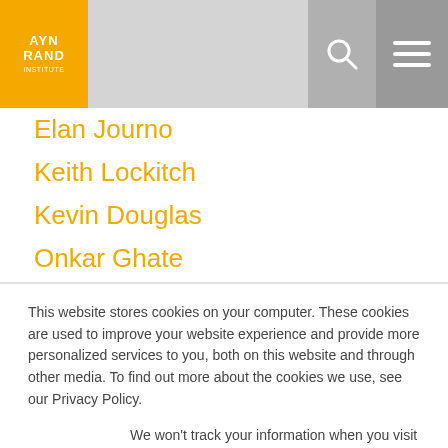AYN RAND INSTITUTE
Elan Journo
Keith Lockitch
Kevin Douglas
Onkar Ghate
Rituparna Basu
Robert Mayhew
Steve Simpson
This website stores cookies on your computer. These cookies are used to improve your website experience and provide more personalized services to you, both on this website and through other media. To find out more about the cookies we use, see our Privacy Policy.
We won't track your information when you visit our site. But in order to comply with your preferences, we'll have to use just one tiny cookie so that you're not asked to make this choice again.